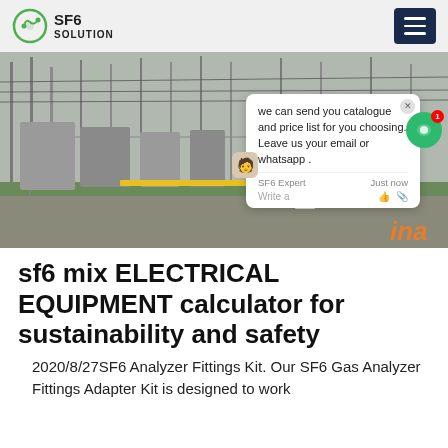SF6 SOLUTION
[Figure (photo): A worker in blue coveralls and yellow hard hat stands at an electrical substation with large power transformers and transmission towers in the background. Overcast day. A chat popup overlay is visible on the right side of the image.]
sf6 mix ELECTRICAL EQUIPMENT calculator for sustainability and safety
2020/8/27SF6 Analyzer Fittings Kit. Our SF6 Gas Analyzer Fittings Adapter Kit is designed to work